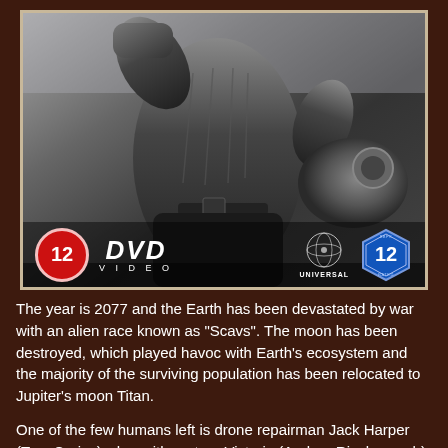[Figure (photo): DVD cover image showing a motorcyclist in leather gear on a motorcycle. Overlaid badges include a red circular UK '12' rating badge, a DVD Video logo, a Universal Pictures globe logo, and a blue hexagonal '12' rating badge.]
The year is 2077 and the Earth has been devastated by war with an alien race known as "Scavs". The moon has been destroyed, which played havoc with Earth's ecosystem and the majority of the surviving population has been relocated to Jupiter's moon Titan.
One of the few humans left is drone repairman Jack Harper (Tom Cruise) who, with partner Victoria (Andrea Riseborough), ensures the continued operation of the equipment necessary to harvest the last of Earth's resources